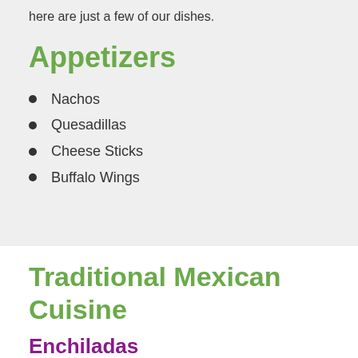here are just a few of our dishes.
Appetizers
Nachos
Quesadillas
Cheese Sticks
Buffalo Wings
Traditional Mexican Cuisine
Enchiladas
Thin, rolled tortillas brimming with your